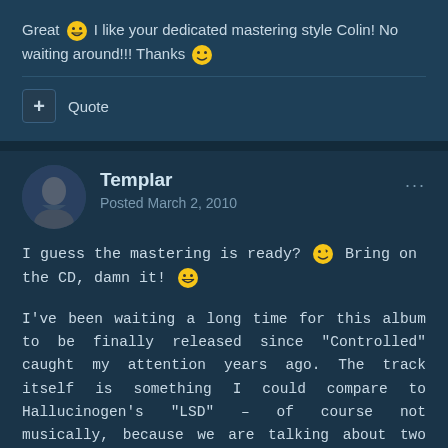Great 😁 I like your dedicated mastering style Colin! No waiting around!!! Thanks 😊
+ Quote
Templar
Posted March 2, 2010
I guess the mastering is ready? 😉 Bring on the CD, damn it! 😁
I've been waiting a long time for this album to be finally released since "Controlled" caught my attention years ago. The track itself is something I could compare to Hallucinogen's "LSD" – of course not musically, because we are talking about two different tracks, but regarding their significance to the respective authors' discographies. It's great that it will appear in a modern version on